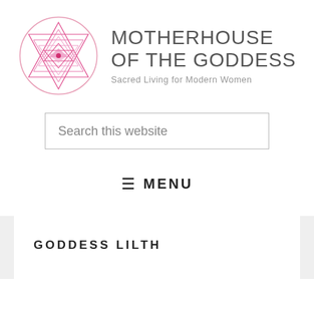[Figure (logo): Motherhouse of the Goddess logo: a pink geometric Sri Yantra mandala symbol in a circle]
MOTHERHOUSE OF THE GODDESS
Sacred Living for Modern Women
Search this website
≡ MENU
GODDESS LILTH